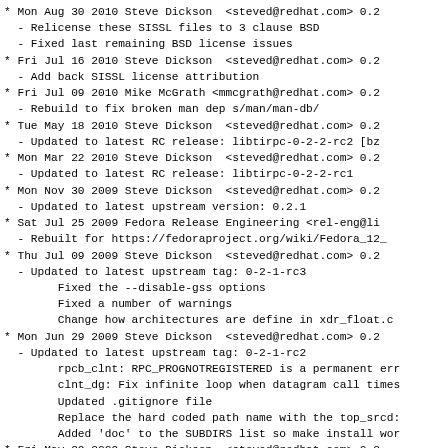* Mon Aug 30 2010 Steve Dickson  <steved@redhat.com> 0.2
  - Relicense these SISSL files to 3 clause BSD
  - Fixed last remaining BSD license issues
* Fri Jul 16 2010 Steve Dickson  <steved@redhat.com> 0.2
  - Add back SISSL license attribution
* Fri Jul 09 2010 Mike McGrath <mmcgrath@redhat.com> 0.2
  - Rebuild to fix broken man dep s/man/man-db/
* Tue May 18 2010 Steve Dickson  <steved@redhat.com> 0.2
  - Updated to latest RC release: libtirpc-0-2-2-rc2 [bz
* Mon Mar 22 2010 Steve Dickson  <steved@redhat.com> 0.2
  - Updated to latest RC release: libtirpc-0-2-2-rc1
* Mon Nov 30 2009 Steve Dickson  <steved@redhat.com> 0.2
  - Updated to latest upstream version: 0.2.1
* Sat Jul 25 2009 Fedora Release Engineering <rel-eng@li
  - Rebuilt for https://fedoraproject.org/wiki/Fedora_12_
* Thu Jul 09 2009 Steve Dickson  <steved@redhat.com> 0.2
  - Updated to latest upstream tag: 0-2-1-rc3
        Fixed the --disable-gss options
        Fixed a number of warnings
        Change how architectures are define in xdr_float.c
* Mon Jun 29 2009 Steve Dickson  <steved@redhat.com> 0.2
  - Updated to latest upstream tag: 0-2-1-rc2
        rpcb_clnt: RPC_PROGNOTREGISTERED is a permanent err
        clnt_dg: Fix infinite loop when datagram call times
        Updated .gitignore file
        Replace the hard coded path name with the top_srcd:
        Added 'doc' to the SUBDIRS list so make install wor
* Fri May 29 2009 Steve Dickson  <steved@redhat.com> 0.2
  - Updated to latest upstream version: 0.2.0
* Tue May 19 2009 Tom "spot" Callaway <tcallawa@redhat.co